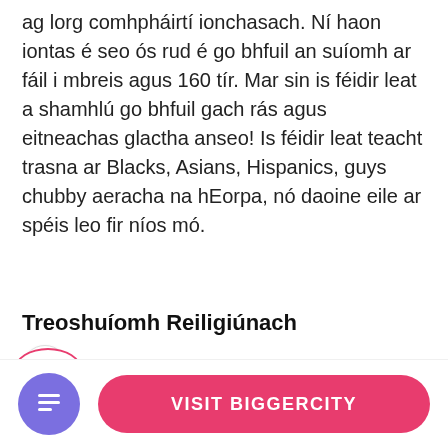ag lorg comhpháirtí ionchasach. Ní haon iontas é seo ós rud é go bhfuil an suíomh ar fáil i mbreis agus 160 tír. Mar sin is féidir leat a shamhlú go bhfuil gach rás agus eitneachas glactha anseo! Is féidir leat teacht trasna ar Blacks, Asians, Hispanics, guys chubby aeracha na hEorpa, nó daoine eile ar spéis leo fir níos mó.
Treoshuíomh Reiligiúnach
Ní ná d'úsáideoirí aon fhaisnéis faoi reiligiún ar City a líonadh, ós rud é nach cosúil go bhfuil an t-ábhar seo chomh mór sin d'fhormhór na n-úsáideoirí
[Figure (other): Circular badge showing 44% in red text with red border]
VISIT BIGGERCITY